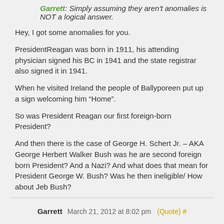Garrett: Simply assuming they aren't anomalies is NOT a logical answer.
Hey, I got some anomalies for you.
PresidentReagan was born in 1911, his attending physician signed his BC in 1941 and the state registrar also signed it in 1941.
When he visited Ireland the people of Ballyporeen put up a sign welcoming him “Home”.
So was President Reagan our first foreign-born President?
And then there is the case of George H. Schert Jr. – AKA George Herbert Walker Bush was he are second foreign born President? And a Nazi? And what does that mean for President George W. Bush? Was he then ineligible/ How about Jeb Bush?
Garrett March 21, 2012 at 8:02 pm (Quote) #